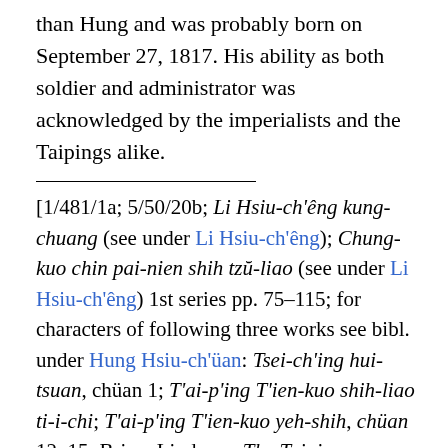than Hung and was probably born on September 27, 1817. His ability as both soldier and administrator was acknowledged by the imperialists and the Taipings alike.
[1/481/1a; 5/50/20b; Li Hsiu-ch'êng kung-chuang (see under Li Hsiu-ch'êng); Chung-kuo chin pai-nien shih tzŭ-liao (see under Li Hsiu-ch'êng) 1st series pp. 75–115; for characters of following three works see bibl. under Hung Hsiu-ch'üan: Tsei-ch'ing hui-tsuan, chüan 1; T'ai-p'ing T'ien-kuo shih-liao ti-i-chi; T'ai-p'ing T'ien-kuo yeh-shih, chüan 12, 15; Brine, Lindesay, The Taiping Rebellion in China (1862); T'ung-chih Shang-Chiang liang-hsien chih (see under Wang Shih-to) chüan 18 (1874) survey of Taiping calendar after 1853; Wang Shih-to [q. v.], I-ping jih-chi; Bul. Natl. Lib. of Peiping, vol. 8 no. 4 showing recently-discovered Taiping documents; Kuo-wên chou-pao (see bibl. under Ting Pao-chên), vol. 14 no. 15 April